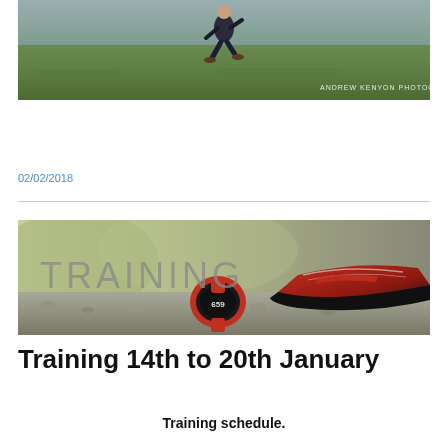[Figure (photo): A person running across a grass field, shot from front, with 'ANDREW KENYON PHOTOGRAPHY' watermark in lower right corner.]
02/02/2018
[Figure (photo): Training banner image showing red and black running shoes and a red sports watch on gravel, with the word 'TRAINING' overlaid in large grey text on the left side.]
Training 14th to 20th January
Training schedule.